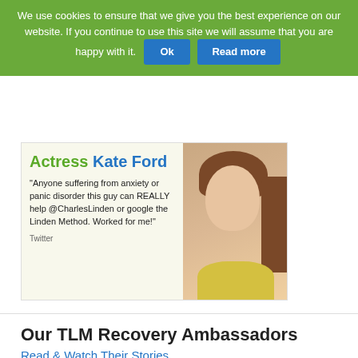We use cookies to ensure that we give you the best experience on our website. If you continue to use this site we will assume that you are happy with it. Ok Read more
[Figure (photo): Advertisement featuring Actress Kate Ford with photo. Quote: 'Anyone suffering from anxiety or panic disorder this guy can REALLY help @CharlesLinden or google the Linden Method. Worked for me!' - Twitter]
Our TLM Recovery Ambassadors
Read & Watch Their Stories
Michelle's Story
[Figure (screenshot): Video thumbnail showing a blurred person, with an X close button in the top right corner]